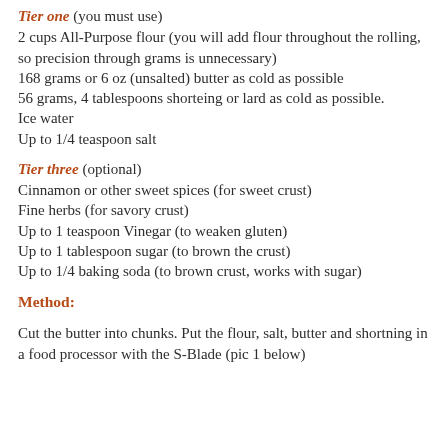Tier one (you must use)
2 cups All-Purpose flour (you will add flour throughout the rolling, so precision through grams is unnecessary)
168 grams or 6 oz (unsalted) butter as cold as possible
56 grams, 4 tablespoons shorteing or lard as cold as possible.
Ice water
Up to 1/4 teaspoon salt
Tier three (optional)
Cinnamon or other sweet spices (for sweet crust)
Fine herbs (for savory crust)
Up to 1 teaspoon Vinegar (to weaken gluten)
Up to 1 tablespoon sugar (to brown the crust)
Up to 1/4 baking soda (to brown crust, works with sugar)
Method:
Cut the butter into chunks. Put the flour, salt, butter and shortning in a food processor with the S-Blade (pic 1 below)